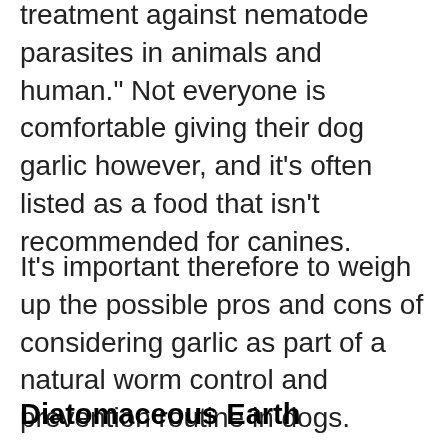treatment against nematode parasites in animals and human." Not everyone is comfortable giving their dog garlic however, and it's often listed as a food that isn't recommended for canines.
It's important therefore to weigh up the possible pros and cons of considering garlic as part of a natural worm control and prevention routine in dogs.
Diatomaceous Earth